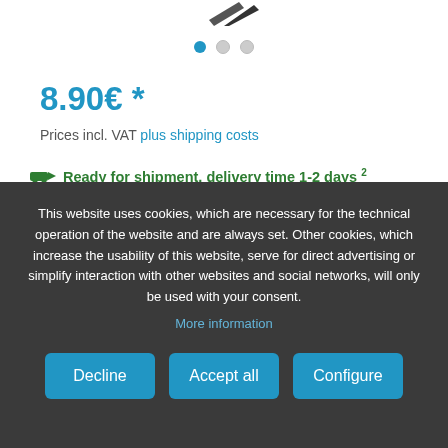[Figure (photo): Partial product image at top of page, showing a dark object cropped at the top edge]
● ○ ○
8.90€ *
Prices incl. VAT plus shipping costs
🚚 Ready for shipment, delivery time 1-2 days ²
Availability: 8 Item in stock
This website uses cookies, which are necessary for the technical operation of the website and are always set. Other cookies, which increase the usability of this website, serve for direct advertising or simplify interaction with other websites and social networks, will only be used with your consent.
More information
Decline
Accept all
Configure